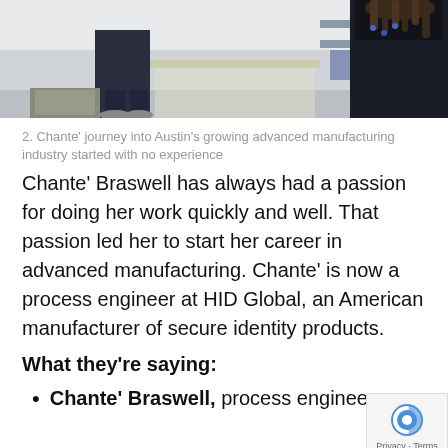[Figure (photo): Cropped photo showing two people in an industrial/manufacturing facility setting. One person on the left wearing dark pants and sneakers, another person on the right with dreadlocks wearing a dark jacket.]
2. Chante’ journey into Austin’s growing advanced manufacturing industry started with no experience
Chante’ Braswell has always had a passion for doing her work quickly and well. That passion led her to start her career in advanced manufacturing. Chante’ is now a process engineer at HID Global, an American manufacturer of secure identity products.
What they’re saying:
Chante’ Braswell, process engineer